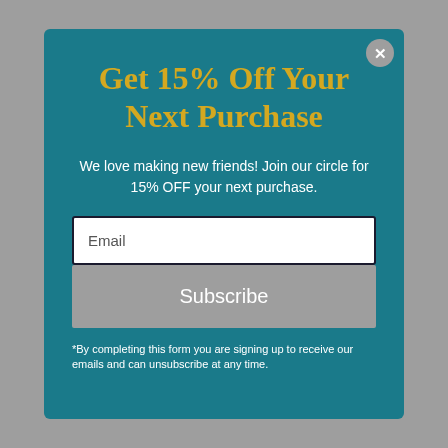Get 15% Off Your Next Purchase
We love making new friends! Join our circle for 15% OFF your next purchase.
Email
Subscribe
*By completing this form you are signing up to receive our emails and can unsubscribe at any time.